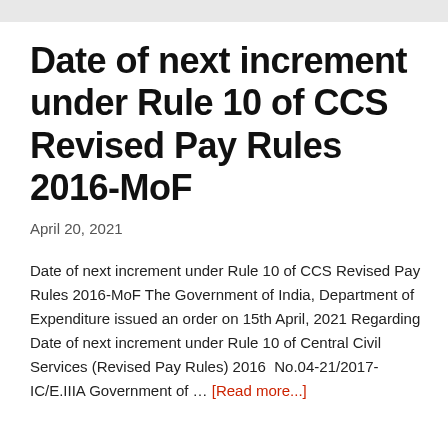Date of next increment under Rule 10 of CCS Revised Pay Rules 2016-MoF
April 20, 2021
Date of next increment under Rule 10 of CCS Revised Pay Rules 2016-MoF The Government of India, Department of Expenditure issued an order on 15th April, 2021 Regarding Date of next increment under Rule 10 of Central Civil Services (Revised Pay Rules) 2016  No.04-21/2017-IC/E.IIIA Government of … [Read more...]